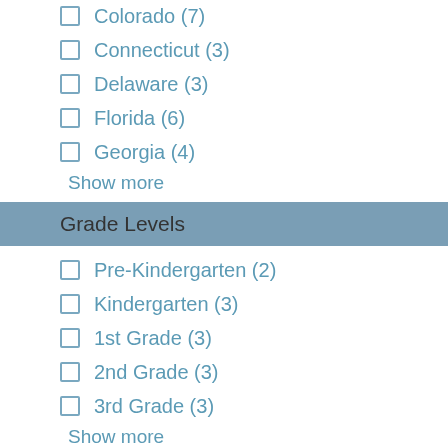Colorado (7)
Connecticut (3)
Delaware (3)
Florida (6)
Georgia (4)
Show more
Grade Levels
Pre-Kindergarten (2)
Kindergarten (3)
1st Grade (3)
2nd Grade (3)
3rd Grade (3)
Show more